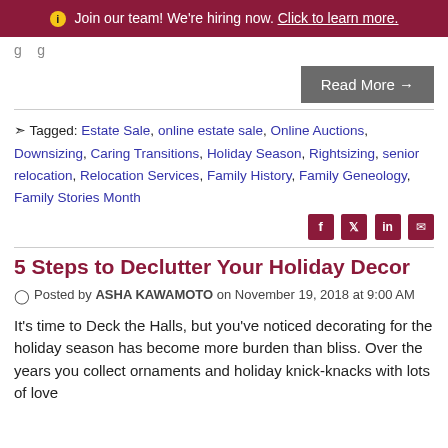ℹ Join our team! We're hiring now. Click to learn more.
g...g
Read More →
Tagged: Estate Sale, online estate sale, Online Auctions, Downsizing, Caring Transitions, Holiday Season, Rightsizing, senior relocation, Relocation Services, Family History, Family Geneology, Family Stories Month
Social share icons: Facebook, Twitter, LinkedIn, Email
5 Steps to Declutter Your Holiday Decor
Posted by ASHA KAWAMOTO on November 19, 2018 at 9:00 AM
It's time to Deck the Halls, but you've noticed decorating for the holiday season has become more burden than bliss. Over the years you collect ornaments and holiday knick-knacks with lots of love